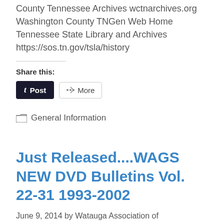County Tennessee Archives wctnarchives.org Washington County TNGen Web Home Tennessee State Library and Archives https://sos.tn.gov/tsla/history
Share this:
[Figure (other): Social share buttons: Post (Tumblr) and More]
General Information
Just Released....WAGS NEW DVD Bulletins Vol. 22-31 1993-2002
June 9, 2014 by Watauga Association of